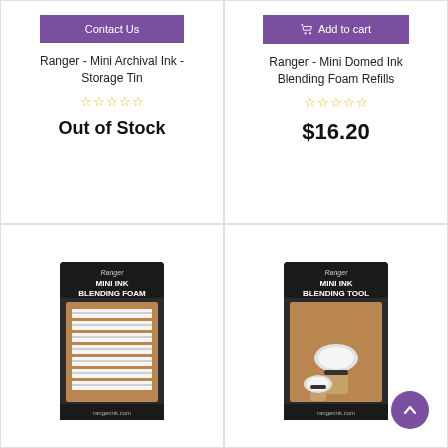[Figure (screenshot): Product card: Ranger - Mini Archival Ink - Storage Tin. Shows 'Contact Us' purple button, product name, empty star rating, Out of Stock label.]
[Figure (screenshot): Product card: Ranger - Mini Domed Ink Blending Foam Refills. Shows 'Add to cart' purple button with cart icon, product name, empty star rating, price $16.20.]
[Figure (photo): Product card bottom-left: Ranger Mini Ink Blending Foam package showing rectangular foam pads on brown card backing.]
[Figure (photo): Product card bottom-right: Ranger Mini Ink Blending Tool package showing blending tool on brown card backing. Purple scroll-to-top button in bottom right corner.]